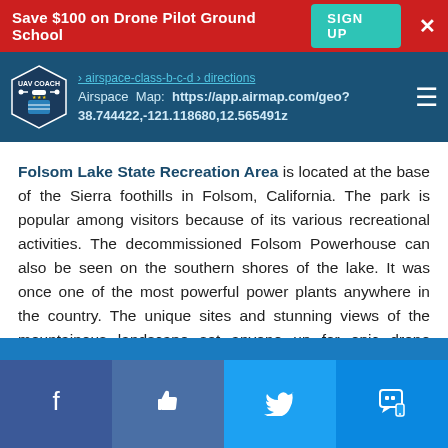Save $100 on Drone Pilot Ground School  SIGN UP  ×
Airspace Map: https://app.airmap.com/geo?38.744422,-121.118680,12.565491z
Folsom Lake State Recreation Area is located at the base of the Sierra foothills in Folsom, California. The park is popular among visitors because of its various recreational activities. The decommissioned Folsom Powerhouse can also be seen on the southern shores of the lake. It was once one of the most powerful power plants anywhere in the country. The unique sites and stunning views of the mountainous landscape set anyone up for epic drone footage.
Facebook  Like  Twitter  SMS